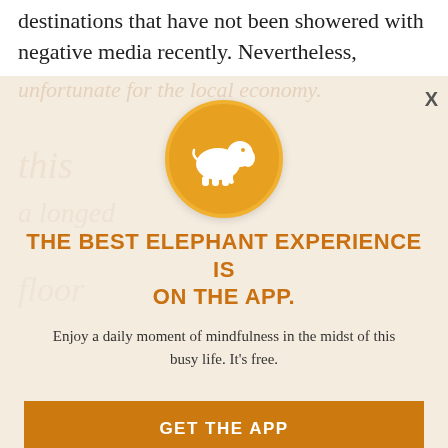destinations that have not been showered with negative media recently. Nevertheless,
although it is pleasant not to be surrounded by tourists on a constant basis, it is unfortunate for the local economy.
[Figure (illustration): Orange circle with white elephant silhouette logo]
THE BEST ELEPHANT EXPERIENCE IS ON THE APP.
Enjoy a daily moment of mindfulness in the midst of this busy life. It's free.
GET THE APP
OPEN IN APP